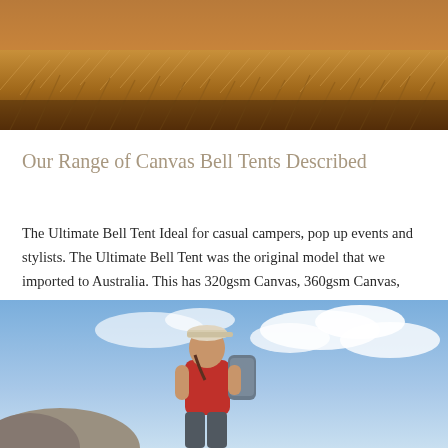[Figure (photo): Aerial/landscape photo of golden dry grass field at warm sunset light]
Our Range of Canvas Bell Tents Described
The Ultimate Bell Tent Ideal for casual campers, pop up events and stylists. The Ultimate Bell Tent was the original model that we imported to Australia. This has 320gsm Canvas, 360gsm Canvas, mesh in the
Read More
[Figure (photo): Woman with a baseball cap and red top carrying a backpack, looking up at a cloudy sky outdoors]